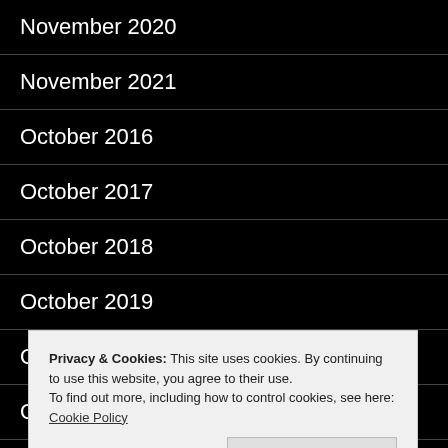November 2020
November 2021
October 2016
October 2017
October 2018
October 2019
October 2020
October 2021
September 2016
September 2020
Privacy & Cookies: This site uses cookies. By continuing to use this website, you agree to their use.
To find out more, including how to control cookies, see here: Cookie Policy